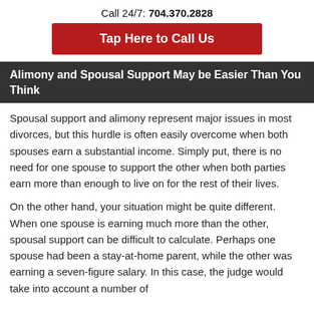Call 24/7: 704.370.2828
Tap Here to Call Us
Alimony and Spousal Support May be Easier Than You Think
Spousal support and alimony represent major issues in most divorces, but this hurdle is often easily overcome when both spouses earn a substantial income. Simply put, there is no need for one spouse to support the other when both parties earn more than enough to live on for the rest of their lives.
On the other hand, your situation might be quite different. When one spouse is earning much more than the other, spousal support can be difficult to calculate. Perhaps one spouse had been a stay-at-home parent, while the other was earning a seven-figure salary. In this case, the judge would take into account a number of